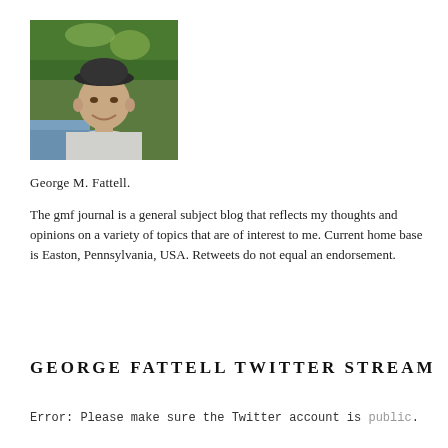[Figure (photo): Outdoor photo of a middle-aged man wearing a baseball cap and light-colored shirt, smiling, with trees and a stream visible in the background.]
George M. Fattell.
The gmf journal is a general subject blog that reflects my thoughts and opinions on a variety of topics that are of interest to me. Current home base is Easton, Pennsylvania, USA. Retweets do not equal an endorsement.
GEORGE FATTELL TWITTER STREAM
Error: Please make sure the Twitter account is public.